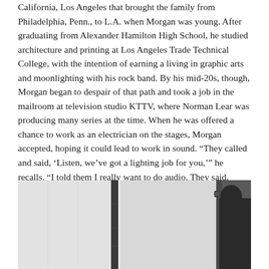California, Los Angeles that brought the family from Philadelphia, Penn., to L.A. when Morgan was young. After graduating from Alexander Hamilton High School, he studied architecture and printing at Los Angeles Trade Technical College, with the intention of earning a living in graphic arts and moonlighting with his rock band. By his mid-20s, though, Morgan began to despair of that path and took a job in the mailroom at television studio KTTV, where Norman Lear was producing many series at the time. When he was offered a chance to work as an electrician on the stages, Morgan accepted, hoping it could lead to work in sound. “They called and said, ‘Listen, we’ve got a lighting job for you,’” he recalls. “I told them I really want to do audio. They said, ‘We’ve got a lighting job. Bring a wrench and a pair of gloves.’”
[Figure (photo): Black and white photograph showing a partial interior scene, possibly a doorway or panel, with a person or figure visible on the right side in dark clothing.]